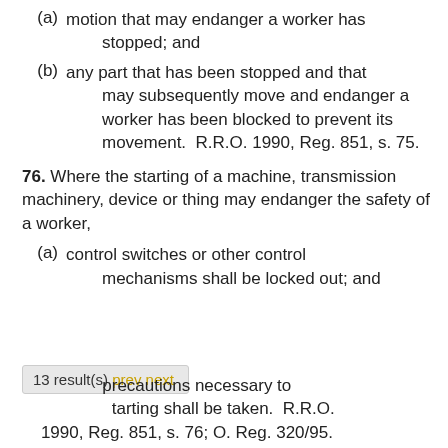(a) motion that may endanger a worker has stopped; and
(b) any part that has been stopped and that may subsequently move and endanger a worker has been blocked to prevent its movement.  R.R.O. 1990, Reg. 851, s. 75.
76. Where the starting of a machine, transmission machinery, device or thing may endanger the safety of a worker,
(a) control switches or other control mechanisms shall be locked out; and
precautions necessary to starting shall be taken.  R.R.O.
1990, Reg. 851, s. 76; O. Reg. 320/95.